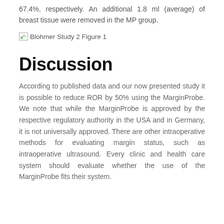67.4%, respectively. An additional 1.8 ml (average) of breast tissue were removed in the MP group.
[Figure (other): Broken image placeholder labeled 'Blohmer Study 2 Figure 1']
Blohmer Study 2 Figure 1
Discussion
According to published data and our now presented study it is possible to reduce ROR by 50% using the MarginProbe. We note that while the MarginProbe is approved by the respective regulatory authority in the USA and in Germany, it is not universally approved. There are other intraoperative methods for evaluating margin status, such as intraoperative ultrasound. Every clinic and health care system should evaluate whether the use of the MarginProbe fits their system.